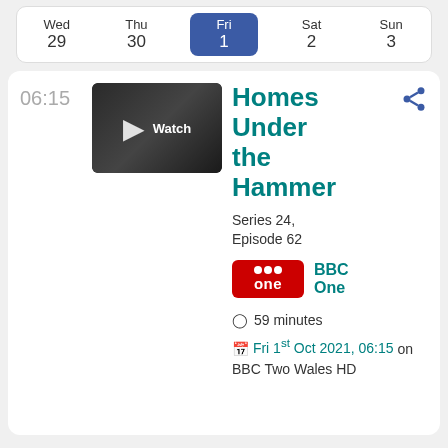| Wed 29 | Thu 30 | Fri 1 | Sat 2 | Sun 3 |
| --- | --- | --- | --- | --- |
06:15
[Figure (photo): Thumbnail image showing three people in a dark setting with a play button and 'Watch' label overlay]
Homes Under the Hammer
Series 24, Episode 62
[Figure (logo): BBC One logo - red rounded rectangle with BBC dots and 'one' text]
BBC One
59 minutes
Fri 1st Oct 2021, 06:15 on BBC Two Wales HD